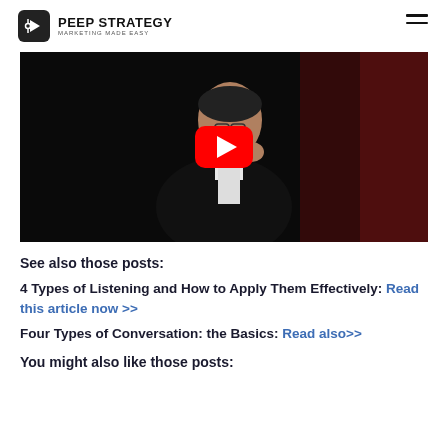PEEP STRATEGY MARKETING MADE EASY
[Figure (screenshot): YouTube video thumbnail showing a man in a dark suit speaking on stage, with a red YouTube play button overlay in the center.]
See also those posts:
4 Types of Listening and How to Apply Them Effectively: Read this article now >>
Four Types of Conversation: the Basics: Read also>>
You might also like those posts: